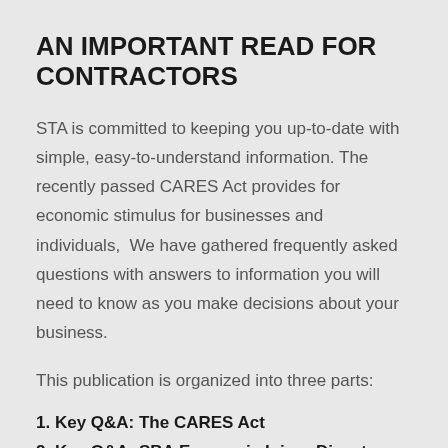AN IMPORTANT READ FOR CONTRACTORS
STA is committed to keeping you up-to-date with simple, easy-to-understand information. The recently passed CARES Act provides for economic stimulus for businesses and individuals,  We have gathered frequently asked questions with answers to information you will need to know as you make decisions about your business.
This publication is organized into three parts:
1. Key Q&A: The CARES Act
2. Key Q&A: SBA Economic Injury Disaster Loan Program